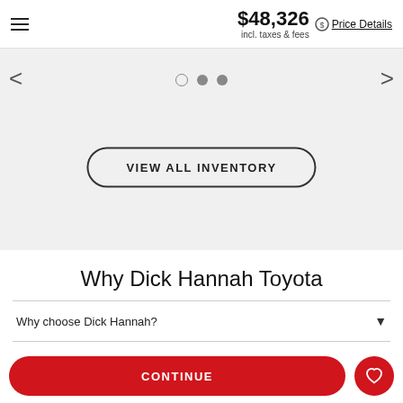$48,326 incl. taxes & fees Price Details
[Figure (screenshot): Carousel navigation area with left/right arrows, three dots (one empty circle, two filled), and a VIEW ALL INVENTORY button on a light gray background]
Why Dick Hannah Toyota
Why choose Dick Hannah?
Experience the nice in car business.
CONTINUE